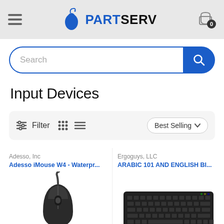PARTSERV - navigation header with hamburger menu, logo, and cart icon
Search
Input Devices
Filter  Best Selling
Adesso, Inc
Adesso iMouse W4 - Waterpr...
[Figure (photo): Black wired computer mouse (Adesso iMouse W4)]
Ergoguys, LLC
ARABIC 101 AND ENGLISH BI...
[Figure (photo): Black keyboard with Arabic and English bilingual layout]